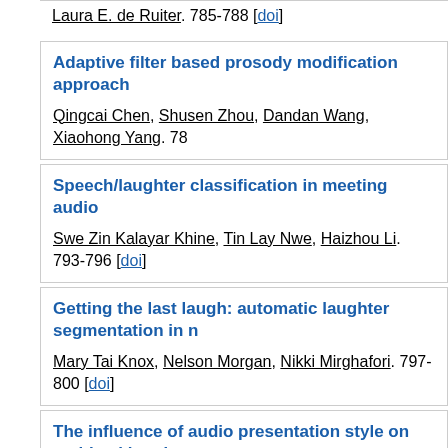Laura E. de Ruiter. 785-788 [doi]
Adaptive filter based prosody modification approach
Qingcai Chen, Shusen Zhou, Dandan Wang, Xiaohong Yang. 78...
Speech/laughter classification in meeting audio
Swe Zin Kalayar Khine, Tin Lay Nwe, Haizhou Li. 793-796 [doi]
Getting the last laugh: automatic laughter segmentation in...
Mary Tai Knox, Nelson Morgan, Nikki Mirghafori. 797-800 [doi]
The influence of audio presentation style on multitasking d... teleconferences
Stuart N. Wrigley, Simon Tucker, Guy J. Brown, Steve Whittaker...
Balancing spoken content adaptation and unit length in the... emotion and interest
Bogdan Vlasenko, Björn Schuller, Kinfe Tadesse Mengistu, Ger...